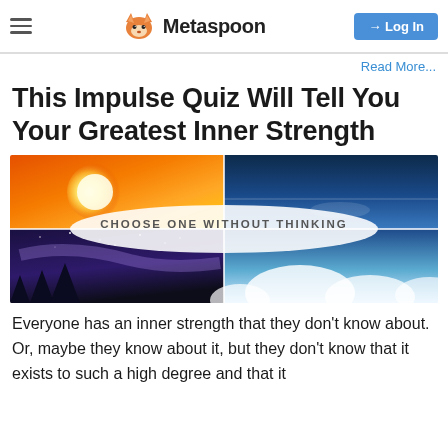Metaspoon — Log In
Read More...
This Impulse Quiz Will Tell You Your Greatest Inner Strength
[Figure (photo): Four-panel collage: sunrise with bright sun (top-left), blue ocean horizon with light reflection (top-right), night sky with milky way and trees (bottom-left), blue sky with white clouds (bottom-right). Centered ellipse overlay reads 'CHOOSE ONE WITHOUT THINKING'.]
Everyone has an inner strength that they don't know about. Or, maybe they know about it, but they don't know that it exists to such a high degree and that it